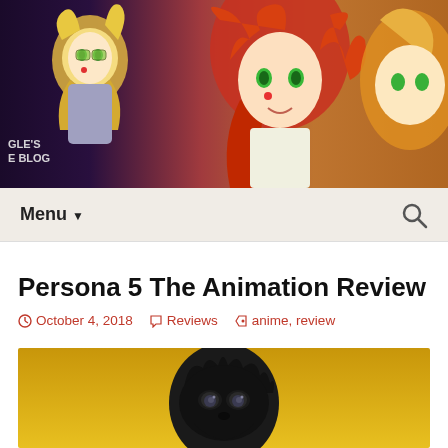[Figure (illustration): Anime-style blog header banner showing colorful anime characters including a blonde girl with goggles and a girl with bright red/orange hair, with partial text 'GLE'S E BLOG' visible on the left side]
Menu ▼
Persona 5 The Animation Review — C
October 4, 2018  Reviews  anime, review
[Figure (illustration): Anime screenshot from Persona 5 The Animation showing a character in a black mask/costume with spiky dark hair and intense eyes against a golden/yellow background]